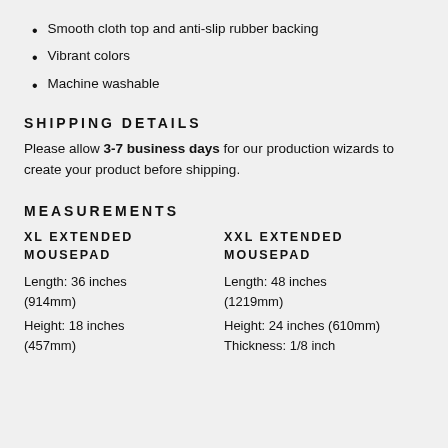Smooth cloth top and anti-slip rubber backing
Vibrant colors
Machine washable
SHIPPING DETAILS
Please allow 3-7 business days for our production wizards to create your product before shipping.
MEASUREMENTS
XL EXTENDED MOUSEPAD
Length: 36 inches (914mm)
Height: 18 inches (457mm)
XXL EXTENDED MOUSEPAD
Length: 48 inches (1219mm)
Height: 24 inches (610mm)
Thickness: 1/8 inch